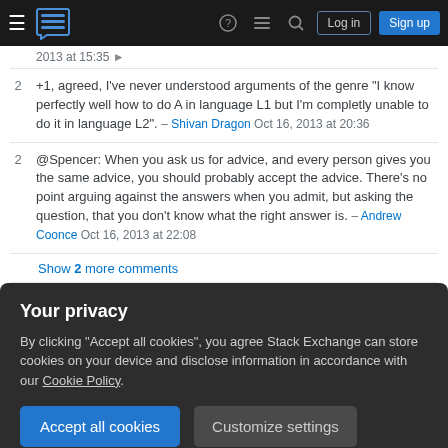Stack Exchange navigation bar with hamburger menu, logo, help, chat, search icons, Log in and Sign up buttons
2013 at 15:35 →
+1, agreed, I've never understood arguments of the genre "I know perfectly well how to do A in language L1 but I'm completly unable to do it in language L2". – Shivan Dragon Oct 16, 2013 at 20:36
@Spencer: When you ask us for advice, and every person gives you the same advice, you should probably accept the advice. There's no point arguing against the answers when you admit, but asking the question, that you don't know what the right answer is. – Andrew Coonce Oct 16, 2013 at 22:08
Show 2 more comments
Your privacy
By clicking "Accept all cookies", you agree Stack Exchange can store cookies on your device and disclose information in accordance with our Cookie Policy.
Accept all cookies
Customize settings
forcing you to use a framework that you aren't